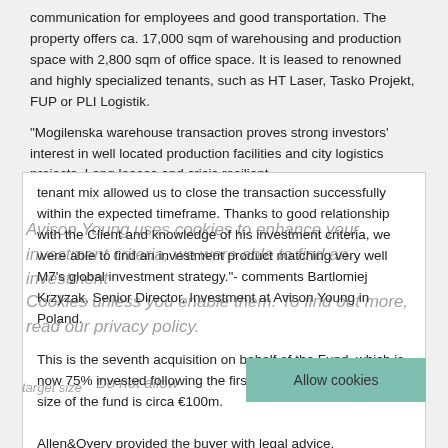communication for employees and good transportation. The property offers ca. 17,000 sqm of warehousing and production space with 2,800 sqm of office space. It is leased to renowned and highly specialized tenants, such as HT Laser, Tasko Projekt, FUP or PLI Logistik.
“Mogilenska warehouse transaction proves strong investors’ interest in well located production facilities and city logistics projects. Long leases and crisis resilient tenant mix allowed us to close the transaction successfully within the expected timeframe. Thanks to good relationship with the Client and knowledge of his investment criteria, we were able to find an investment product matching very well M7’s global investment strategy.”- comments Bartlomiej Krzyzak, Senior Director, Investment at Avison Young in Poland.
This is the seventh acquisition on behalf of the Fund, which is now 75% invested following the first close in 2020. The target size of the fund is circa €100m.
Allen&Overy provided the buyer with legal advice.